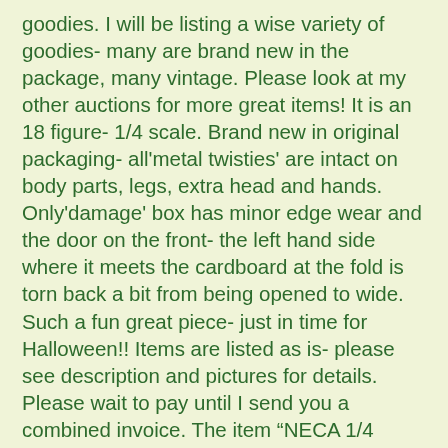goodies. I will be listing a wise variety of goodies- many are brand new in the package, many vintage. Please look at my other auctions for more great items! It is an 18 figure- 1/4 scale. Brand new in original packaging- all'metal twisties' are intact on body parts, legs, extra head and hands. Only'damage' box has minor edge wear and the door on the front- the left hand side where it meets the cardboard at the fold is torn back a bit from being opened to wide. Such a fun great piece- just in time for Halloween!! Items are listed as is- please see description and pictures for details. Please wait to pay until I send you a combined invoice. The item "NECA 1/4 scale 18 Feddy Krueger Nightmare on Elm Street 2 NIB" is in sale since Sunday, August 15, 2021. This item is in the category "Toys & Hobbies\Action Figures & Accessories\Action Figures". The seller is "codysmom3" and is located in Cincinnati, Ohio. This item can be shipped to United States, Canada, United